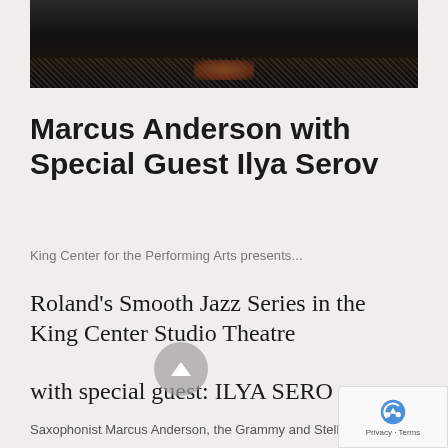[Figure (photo): Dark photograph showing a performer, mostly black with some warm orange/red accent detail at bottom center against a dark ground]
Marcus Anderson with Special Guest Ilya Serov
King Center for the Performing Arts presents...
Roland's Smooth Jazz Series in the King Center Studio Theatre
with special guest: ILYA SERO
Saxophonist Marcus Anderson, the Grammy and Stella Award Nominated artist is an incredible act and one worth